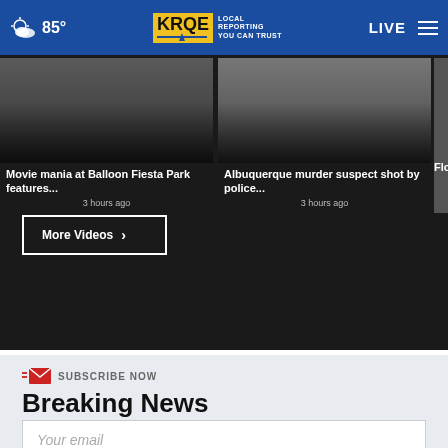85° KRQE LOCAL REPORTING YOU CAN TRUST LIVE
[Figure (screenshot): Video thumbnail showing parking lot scene for 'Movie mania at Balloon Fiesta Park features...' posted 3 hours ago]
[Figure (screenshot): Video thumbnail showing close-up scene for 'Albuquerque murder suspect shot by police...' posted 3 hours ago]
[Figure (screenshot): Partially visible video thumbnail for 'Flood... Count...' story]
More Videos ›
SUBSCRIBE NOW
Breaking News
Your email
SIGN UP NOW